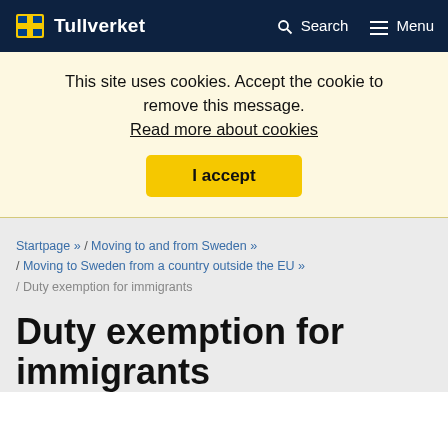Tullverket — Search — Menu
This site uses cookies. Accept the cookie to remove this message.
Read more about cookies
I accept
Startpage » / Moving to and from Sweden » / Moving to Sweden from a country outside the EU » / Duty exemption for immigrants
Duty exemption for immigrants